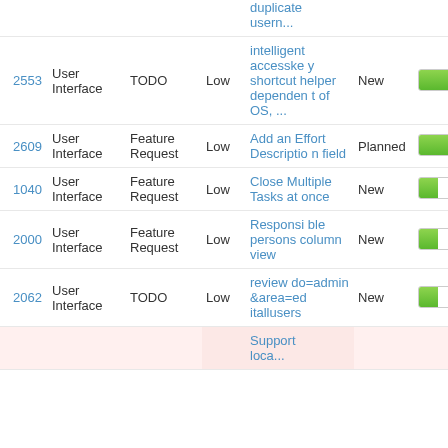| ID | Category | Type | Priority | Subject | Status | % Done |
| --- | --- | --- | --- | --- | --- | --- |
|  |  |  |  | duplicate usern... |  |  |
| 2553 | User Interface | TODO | Low | intelligent accesskey shortcut helper dependent of OS, ... | New | 50% |
| 2609 | User Interface | Feature Request | Low | Add an Effort Description field | Planned | 50% |
| 1040 | User Interface | Feature Request | Low | Close Multiple Tasks at once | New | 30% |
| 2000 | User Interface | Feature Request | Low | Responsible persons column view | New | 30% |
| 2062 | User Interface | TODO | Low | review do=admin&area=editallusers | New | 30% |
|  |  |  |  | Support loca... |  |  |